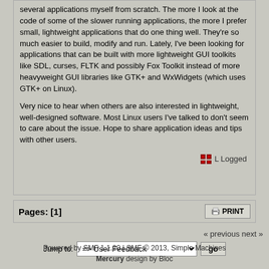several applications myself from scratch.  The more I look at the code of some of the slower running applications, the more I prefer small, lightweight applications that do one thing well.  They're so much easier to build, modify and run.  Lately, I've been looking for applications that can be built with more lightweight GUI toolkits like SDL, curses, FLTK and possibly Fox Toolkit instead of more heavyweight GUI libraries like GTK+ and WxWidgets (which uses GTK+ on Linux).
Very nice to hear when others are also interested in lightweight, well-designed software.  Most Linux users I've talked to don't seem to care about the issue.  Hope to share application ideas and tips with other users.
Logged
Pages: [1]
PRINT
« previous next »
Jump to:  => User Feedback  go
Powered by SMF 1.1.20 | SMF © 2013, Simple Machines
Mercury design by Bloc